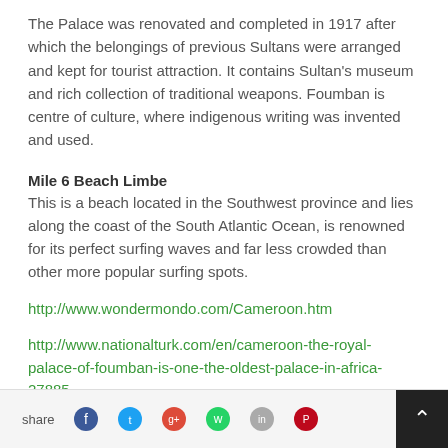The Palace was renovated and completed in 1917 after which the belongings of previous Sultans were arranged and kept for tourist attraction. It contains Sultan's museum and rich collection of traditional weapons. Foumban is centre of culture, where indigenous writing was invented and used.
Mile 6 Beach Limbe
This is a beach located in the Southwest province and lies along the coast of the South Atlantic Ocean, is renowned for its perfect surfing waves and far less crowded than other more popular surfing spots.
http://www.wondermondo.com/Cameroon.htm
http://www.nationalturk.com/en/cameroon-the-royal-palace-of-foumban-is-one-the-oldest-palace-in-africa-27885
http://en.wikipedia.org/wiki/Mvog-Betsi_Zoo
share